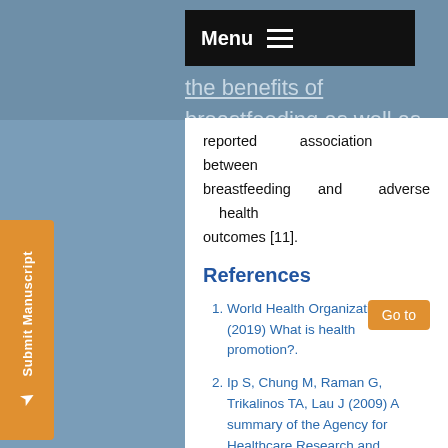h: outcomes should include the benefits of breastfeeding as well as the reported association between breastfeeding and adverse health outcomes [11].
References
World Health Organization [WHO] (2019) What is health promotion?.
Ip S, Chung M, Raman G, Trikalinos TA, Lau J (2009) A summary of the Agency for Healthcare Research and Quality’s evidence report on breastfeeding in developed countries. Breastfeeding Medicine 4(suppl 1): S17-S30.
(2012) Breastfeeding and the use of